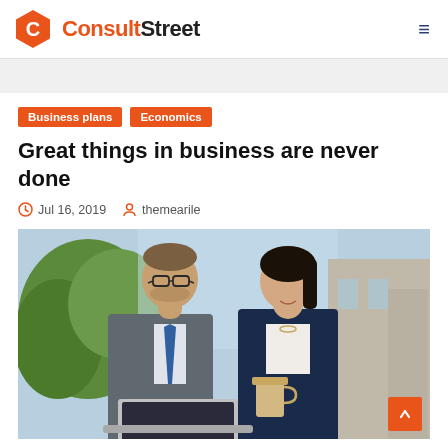ConsultStreet
Business plans
Economics
Great things in business are never done
Jul 16, 2019  themearile
[Figure (photo): Two business professionals — a man in a grey suit with glasses and blue tie with a laptop, and a woman in a navy suit holding a coffee cup — posing outdoors with greenery in the background.]